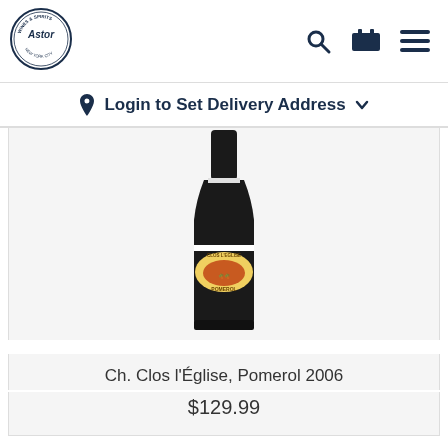[Figure (logo): Astor Wines & Spirits New York City circular logo]
[Figure (screenshot): Header navigation icons: search (magnifying glass), cart, hamburger menu in dark navy]
Login to Set Delivery Address
[Figure (photo): Wine bottle of Ch. Clos l'Eglise Pomerol 2006 with yellow oval label reading CLOS L'EGLISE POMEROL]
Ch. Clos l'Église, Pomerol 2006
$129.99